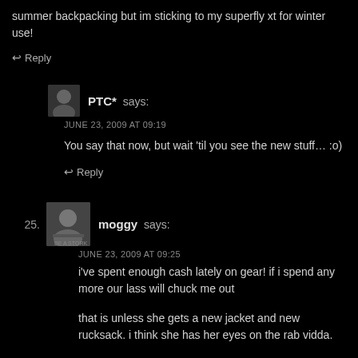summer backpacking but im sticking to my superfly xt for winter use!
↩ Reply
PTC* says:
JUNE 23, 2009 AT 09:19
You say that now, but wait 'til you see the new stuff… :o)
↩ Reply
25. moggy says:
JUNE 23, 2009 AT 09:25
i've spent enough cash lately on gear! if i spend any more our lass will chuck me out
that is unless she gets a new jacket and new rucksack. i think she has her eyes on the rab vidda.
she might also need a new pair of boots if she cant get away with the ones she won as her scout gtx have rotted away.
↩ Reply
26. mattc says: